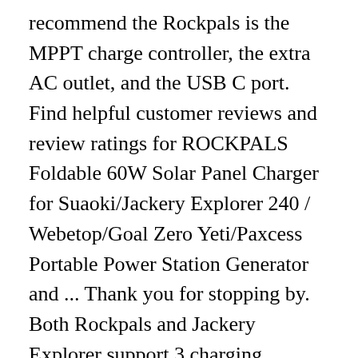recommend the Rockpals is the MPPT charge controller, the extra AC outlet, and the USB C port. Find helpful customer reviews and review ratings for ROCKPALS Foldable 60W Solar Panel Charger for Suaoki/Jackery Explorer 240 / Webetop/Goal Zero Yeti/Paxcess Portable Power Station Generator and ... Thank you for stopping by. Both Rockpals and Jackery Explorer support 3 charging methods i.e AC Wall charger, Car Charger and Solar Panels. For my use cases the Jackery 240 wins, that's why I own two. What The Rockpals 300W Does Better. Both of these products are exceptional in quality and have received the best ratings and reviews from the community. When deciding what power station to buy, it's good if